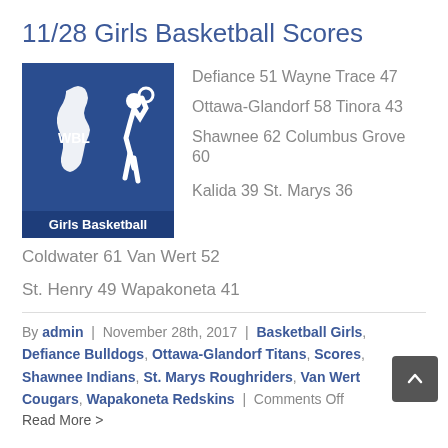11/28 Girls Basketball Scores
[Figure (logo): WBL Girls Basketball logo — blue square with white Ohio state outline, basketball player silhouette, 'WBL' text, and 'Girls Basketball' label at bottom]
Defiance 51 Wayne Trace 47
Ottawa-Glandorf 58 Tinora 43
Shawnee 62 Columbus Grove 60
Kalida 39 St. Marys 36
Coldwater 61 Van Wert 52
St. Henry 49 Wapakoneta 41
By admin | November 28th, 2017 | Basketball Girls, Defiance Bulldogs, Ottawa-Glandorf Titans, Scores, Shawnee Indians, St. Marys Roughriders, Van Wert Cougars, Wapakoneta Redskins | Comments Off
Read More >